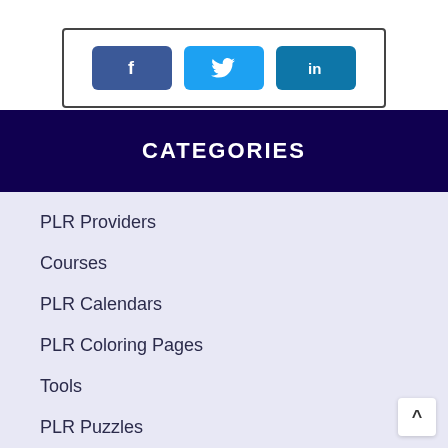[Figure (other): Social share buttons (Facebook, Twitter, LinkedIn) inside a bordered box]
Share Now!
CATEGORIES
PLR Providers
Courses
PLR Calendars
PLR Coloring Pages
Tools
PLR Puzzles